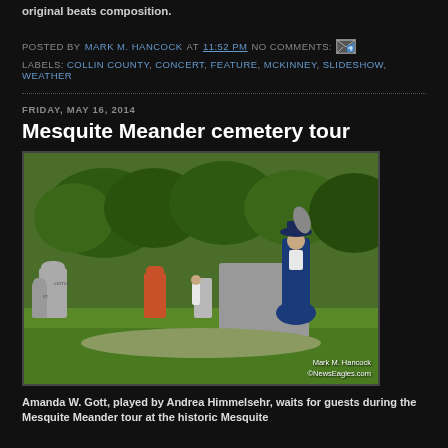original beats composition.
POSTED BY MARK M. HANCOCK AT 11:52 PM NO COMMENTS:
LABELS: COLLIN COUNTY, CONCERT, FEATURE, MCKINNEY, SLIDESHOW, WEATHER
FRIDAY, MAY 16, 2014
Mesquite Meander cemetery tour
[Figure (photo): A woman dressed in a blue Victorian-era dress and hat, playing the character Amanda W. Gott, stands in a cemetery among tombstones with trees in the background. Photo credit: Mark M. Hancock / ©NewsEagles.com]
Amanda W. Gott, played by Andrea Himmelsehr, waits for guests during the Mesquite Meander tour at the historic Mesquite